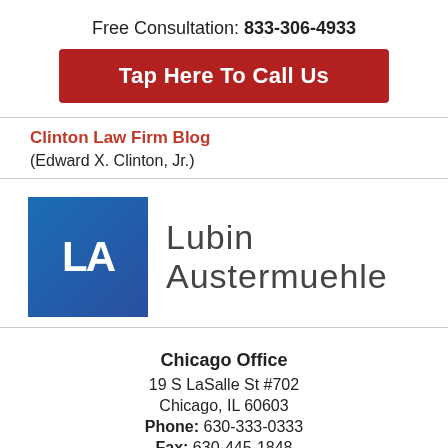Free Consultation: 833-306-4933
Tap Here To Call Us
Clinton Law Firm Blog
(Edward X. Clinton, Jr.)
[Figure (logo): Lubin Austermuehle law firm logo with blue square containing white letters LA and firm name text]
Chicago Office
19 S LaSalle St #702
Chicago, IL 60603
Phone: 630-333-0333
Fax: 630-445-1848